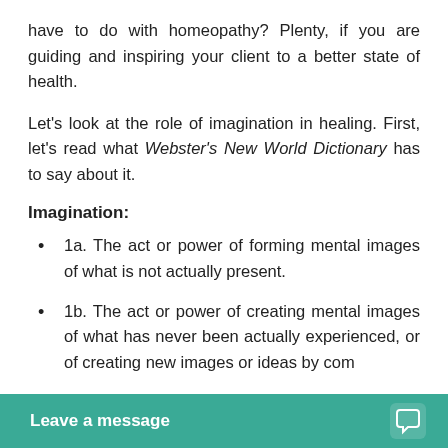have to do with homeopathy? Plenty, if you are guiding and inspiring your client to a better state of health.
Let's look at the role of imagination in healing. First, let's read what Webster's New World Dictionary has to say about it.
Imagination:
1a. The act or power of forming mental images of what is not actually present.
1b. The act or power of creating mental images of what has never been actually experienced, or of creating new images or ideas by com
creative mo